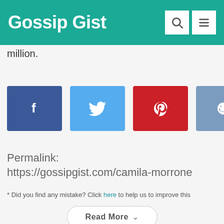Gossip Gist
million.
[Figure (other): Social share buttons: Facebook (blue), Twitter (light blue), Pinterest (red), Reddit (steel blue)]
Permalink: https://gossipgist.com/camila-morrone
* Did you find any mistake? Click here to help us to improve this
Read More
[Figure (photo): Dark image with PREVIOUS POST label in teal]